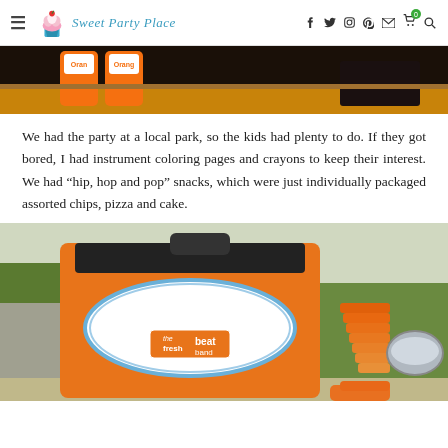Sweet Party Place
[Figure (photo): Top photo showing orange soda bottles (Fanta/Orange brand) on a table at a party setup]
We had the party at a local park, so the kids had plenty to do.  If they got bored, I had instrument coloring pages and crayons to keep their interest.  We had “hip, hop and pop” snacks, which were just individually packaged assorted chips, pizza and cake.
[Figure (photo): Photo of a large orange beverage dispenser labeled 'Groovie Smoothie Punch' with the Fresh Beat Band logo, surrounded by stacked orange plastic cups]